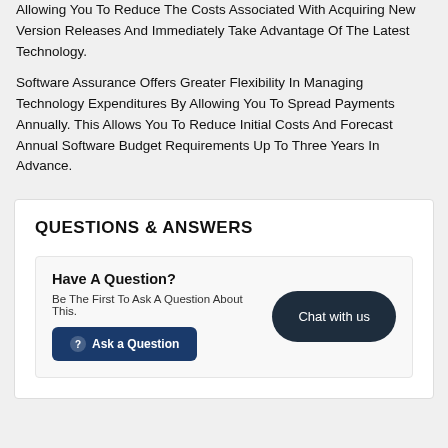Allowing You To Reduce The Costs Associated With Acquiring New Version Releases And Immediately Take Advantage Of The Latest Technology.
Software Assurance Offers Greater Flexibility In Managing Technology Expenditures By Allowing You To Spread Payments Annually. This Allows You To Reduce Initial Costs And Forecast Annual Software Budget Requirements Up To Three Years In Advance.
QUESTIONS & ANSWERS
Have A Question?
Be The First To Ask A Question About This.
Ask a Question
Chat with us